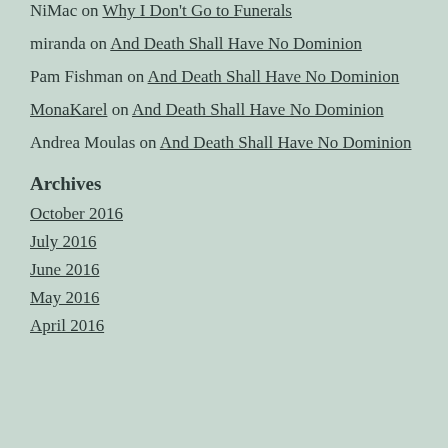NiMac on Why I Don't Go to Funerals
miranda on And Death Shall Have No Dominion
Pam Fishman on And Death Shall Have No Dominion
MonaKarel on And Death Shall Have No Dominion
Andrea Moulas on And Death Shall Have No Dominion
Archives
October 2016
July 2016
June 2016
May 2016
April 2016